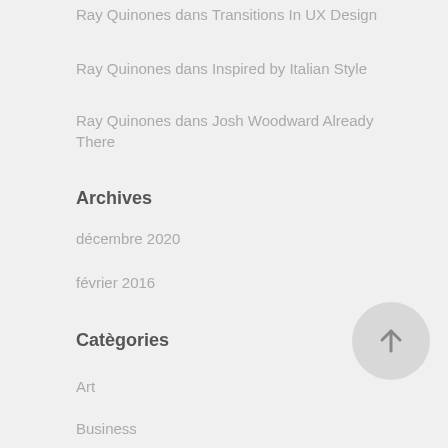Ray Quinones dans Transitions In UX Design
Ray Quinones dans Inspired by Italian Style
Ray Quinones dans Josh Woodward Already There
Archives
décembre 2020
février 2016
Catégories
Art
Business